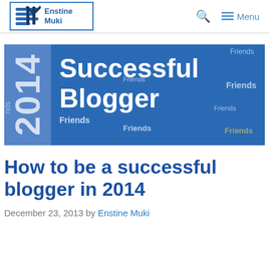Enstine Muki — navigation bar with logo, search icon, and Menu
[Figure (illustration): Blog post hero banner showing '2014 Successful Blogger' with the word 'Friends' repeated in various sizes on a blue background]
How to be a successful blogger in 2014
December 23, 2013 by Enstine Muki